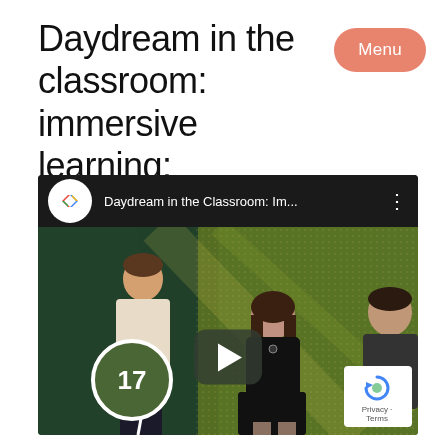Daydream in the classroom: immersive learning:
Menu
[Figure (screenshot): YouTube video thumbnail showing 'Daydream in the Classroom: Im...' with three people on a stage with a green/gold background screen. A play button is overlaid in the center. Bottom left shows a circle with '17' and a slash line. Bottom right shows a reCAPTCHA badge with Privacy and Terms links.]